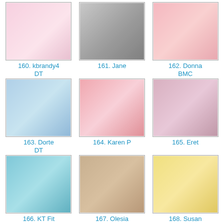[Figure (photo): Thumbnail image 160 - kbrandy4 DT]
160. kbrandy4 DT
[Figure (photo): Thumbnail image 161 - Jane]
161. Jane
[Figure (photo): Thumbnail image 162 - Donna BMC]
162. Donna BMC
[Figure (photo): Thumbnail image 163 - Dorte DT]
163. Dorte DT
[Figure (photo): Thumbnail image 164 - Karen P]
164. Karen P
[Figure (photo): Thumbnail image 165 - Eret]
165. Eret
[Figure (photo): Thumbnail image 166 - KT Fit Kitty]
166. KT Fit Kitty
[Figure (photo): Thumbnail image 167 - Olesia]
167. Olesia
[Figure (photo): Thumbnail image 168 - Susan Kennedy]
168. Susan Kennedy
[Figure (photo): Thumbnail image 169 - tamika]
169. tamika
[Figure (photo): Thumbnail image 170 - Becky V]
170. Becky V
[Figure (photo): Thumbnail image 171 - Tanya]
171. Tanya